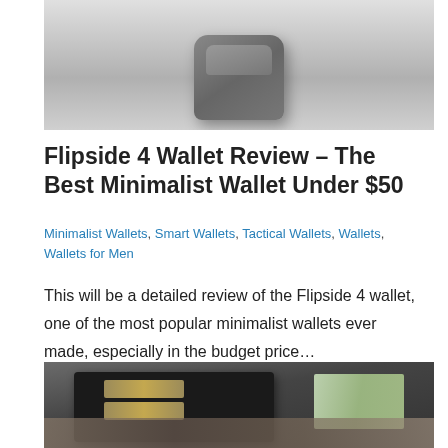[Figure (photo): Close-up photo of a dark gray minimalist wallet on a light gray background, viewed from above at a slight angle]
Flipside 4 Wallet Review – The Best Minimalist Wallet Under $50
Minimalist Wallets, Smart Wallets, Tactical Wallets, Wallets, Wallets for Men
This will be a detailed review of the Flipside 4 wallet, one of the most popular minimalist wallets ever made, especially in the budget price…
[Figure (photo): Close-up photo of a black Flipside 4 wallet with tan elastic bands and cash visible, lying on a stone surface]